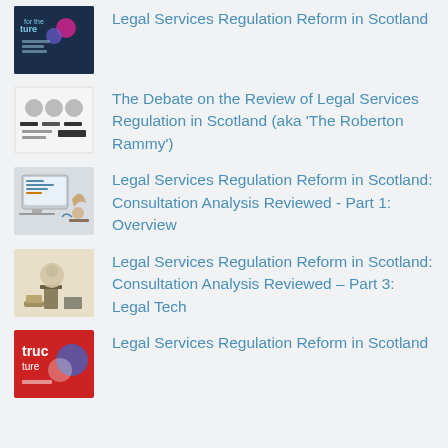Legal Services Regulation Reform in Scotland
The Debate on the Review of Legal Services Regulation in Scotland (aka 'The Roberton Rammy')
Legal Services Regulation Reform in Scotland: Consultation Analysis Reviewed - Part 1: Overview
Legal Services Regulation Reform in Scotland: Consultation Analysis Reviewed – Part 3: Legal Tech
Legal Services Regulation Reform in Scotland